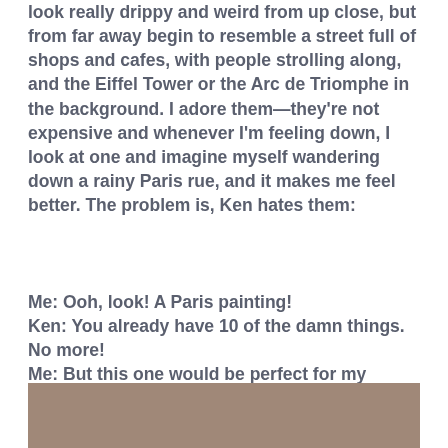look really drippy and weird from up close, but from far away begin to resemble a street full of shops and cafes, with people strolling along, and the Eiffel Tower or the Arc de Triomphe in the background. I adore them—they're not expensive and whenever I'm feeling down, I look at one and imagine myself wandering down a rainy Paris rue, and it makes me feel better. The problem is, Ken hates them:
Me: Ooh, look! A Paris painting!
Ken: You already have 10 of the damn things. No more!
Me: But this one would be perfect for my bathroom…
[Figure (photo): Bottom portion of an image with a brownish-taupe background color, partially visible at the bottom of the page.]